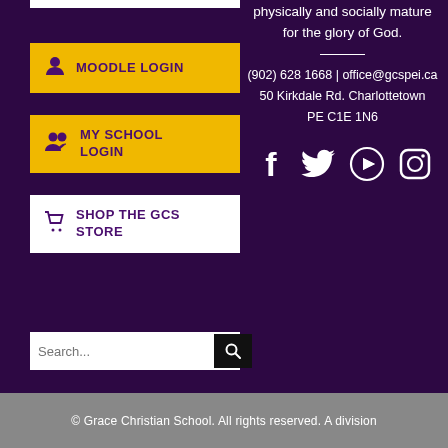physically and socially mature for the glory of God.
(902) 628 1668 | office@gcspei.ca 50 Kirkdale Rd. Charlottetown PE C1E 1N6
[Figure (infographic): Social media icons: Facebook, Twitter, YouTube, Instagram]
MOODLE LOGIN
MY SCHOOL LOGIN
SHOP THE GCS STORE
Search...
© Grace Christian School. All rights reserved. A division